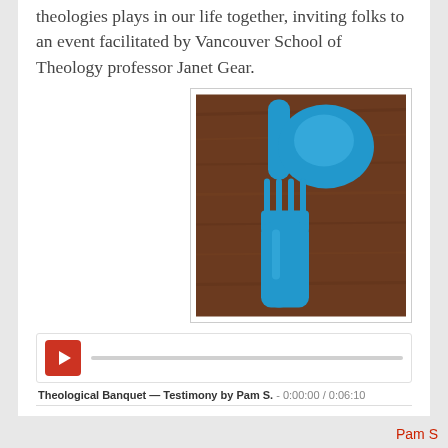theologies plays in our life together, inviting folks to an event facilitated by Vancouver School of Theology professor Janet Gear.
[Figure (photo): Blue plastic spoon and fork laid on a wooden cutting board surface, viewed from above.]
[Figure (other): Audio player with red play button and progress bar for 'Theological Banquet — Testimony by Pam S.' duration 0:06:10]
Theological Banquet — Testimony by Pam S. - 0:00:00 / 0:06:10
Pam S